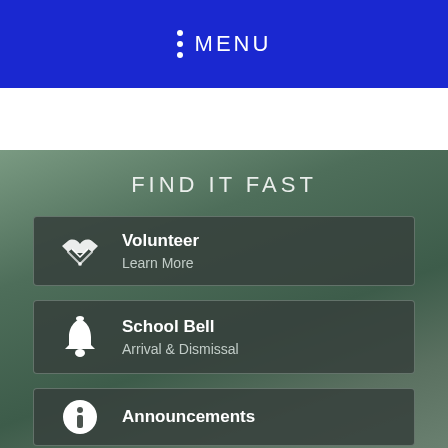MENU
FIND IT FAST
Volunteer — Learn More
School Bell — Arrival & Dismissal
Announcements